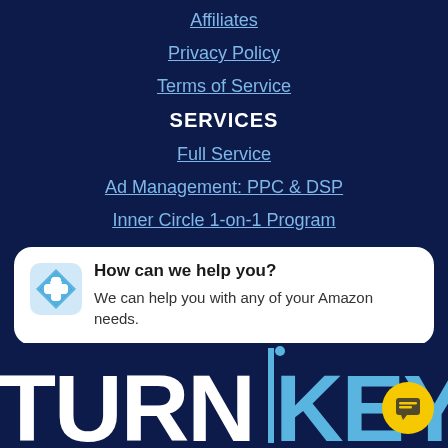Affiliates
Privacy Policy
Terms of Service
SERVICES
Full Service
Ad Management: PPC & DSP
Inner Circle 1-on-1 Program
How can we help you? We can help you with any of your Amazon needs.
[Figure (logo): TurnKey logo in white and blue text on dark navy background with vertical blue bar separator between TURN and KEY]
[Figure (other): Yellow circular chat button with dark chat icon]